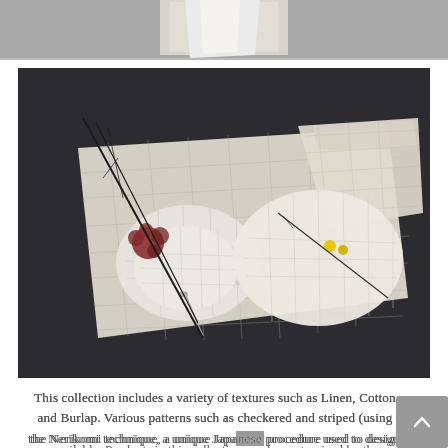[Figure (photo): Partial top image showing a light gray background with white ceramic or paper items, cropped at top of page.]
[Figure (photo): Overhead photograph of a table setting on a dark slate/charcoal surface. A white linen/cotton placemat with a grid/checkered pattern is laid diagonally. On it sit a white ceramic mug and a white ceramic bowl, both with grid-pattern designs. A red/brown dried flower, yellow pom-pom flowers, and thin black twigs are arranged as decoration. A folded checkered napkin is placed nearby.]
This collection includes a variety of textures such as Linen, Cotton and Burlap. Various patterns such as checkered and striped (using the Nerikomi technique, a unique Japanese procedure used to design colored porcelain) are available. Products in this collection can be customized by the